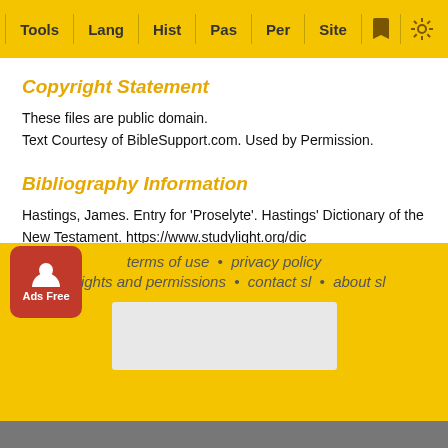Tools  Lang  Hist  Pas  Per  Site
Copyright Statement
These files are public domain.
Text Courtesy of BibleSupport.com. Used by Permission.
Bibliography Information
Hastings, James. Entry for 'Proselyte'. Hastings' Dictionary of the New Testament. https://www.studylight.org/dictionaries/eng/hdn/p/proselyte.html. 1906-1918.
terms of use  •  privacy policy  •  rights and permissions  •  contact sl  •  about sl